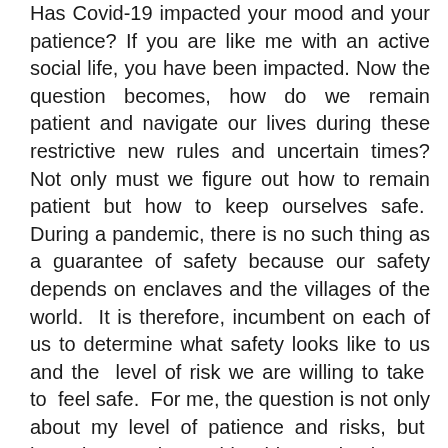Has Covid-19 impacted your mood and your patience? If you are like me with an active social life, you have been impacted. Now the question becomes, how do we remain patient and navigate our lives during these restrictive new rules and uncertain times? Not only must we figure out how to remain patient but how to keep ourselves safe.  During a pandemic, there is no such thing as a guarantee of safety because our safety depends on enclaves and the villages of the world.  It is therefore, incumbent on each of us to determine what safety looks like to us and the  level of risk we are willing to take  to  feel safe.  For me, the question is not only about my level of patience and risks, but  how do I survive amidst this pandemic.  As an African American woman, over age sixty, I am in a high-risk category. I know first-hand the destructive force of this virus and have lost relatives and friends to it. I have also prayed for others who thankfully recovered.  I understand that leaving my home entails